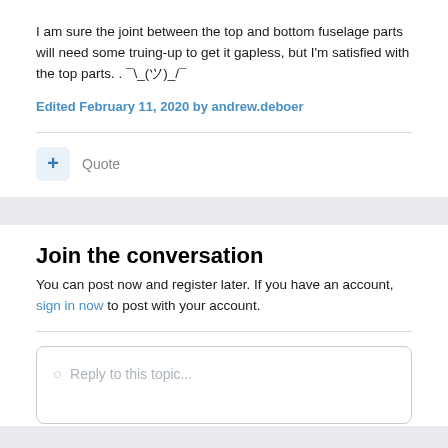I am sure the joint between the top and bottom fuselage parts will need some truing-up to get it gapless, but I'm satisfied with the top parts. . ¯\_(ツ)_/¯
Edited February 11, 2020 by andrew.deboer
+ Quote
Join the conversation
You can post now and register later. If you have an account, sign in now to post with your account.
Reply to this topic...